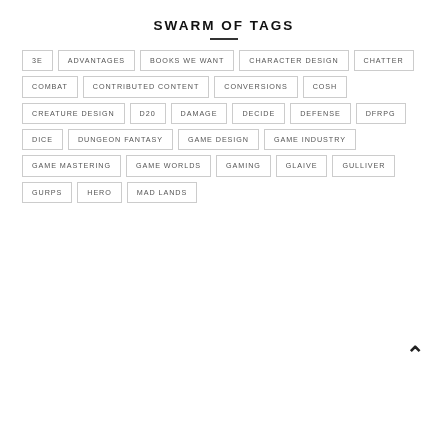SWARM OF TAGS
3E
ADVANTAGES
BOOKS WE WANT
CHARACTER DESIGN
CHATTER
COMBAT
CONTRIBUTED CONTENT
CONVERSIONS
COSH
CREATURE DESIGN
D20
DAMAGE
DECIDE
DEFENSE
DFRPG
DICE
DUNGEON FANTASY
GAME DESIGN
GAME INDUSTRY
GAME MASTERING
GAME WORLDS
GAMING
GLAIVE
GULLIVER
GURPS
HERO
MAD LANDS